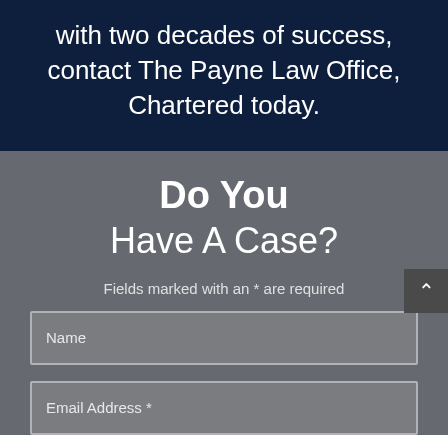with two decades of success, contact The Payne Law Office, Chartered today.
Do You Have A Case?
Fields marked with an * are required
Name
Email Address *